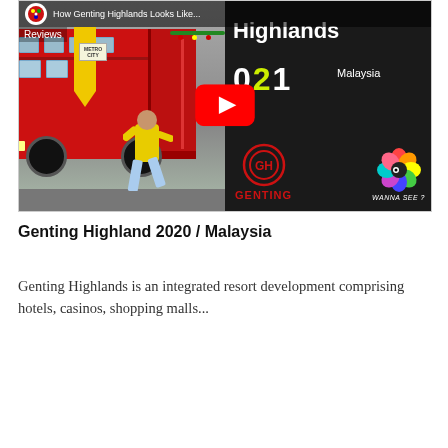[Figure (screenshot): YouTube video thumbnail for 'How Genting Highlands Looks Like...' showing a red double-decker bus on the left half, a person in yellow posing at the door, with the right half showing a dark promotional panel with text 'Highlands', '021', 'Malaysia', the Genting logo, and a 'Wanna See?' colorful icon. A YouTube play button overlay is centered on the thumbnail.]
Genting Highland 2020 / Malaysia
Genting Highlands is an integrated resort development comprising hotels, casinos, shopping malls...